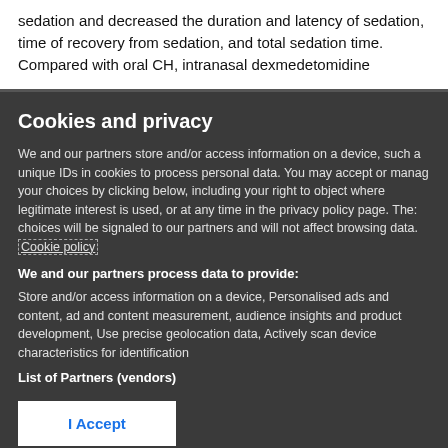sedation and decreased the duration and latency of sedation, time of recovery from sedation, and total sedation time. Compared with oral CH, intranasal dexmedetomidine
Cookies and privacy
We and our partners store and/or access information on a device, such a unique IDs in cookies to process personal data. You may accept or manage your choices by clicking below, including your right to object where legitimate interest is used, or at any time in the privacy policy page. These choices will be signaled to our partners and will not affect browsing data. Cookie policy
We and our partners process data to provide:
Store and/or access information on a device, Personalised ads and content, ad and content measurement, audience insights and product development, Use precise geolocation data, Actively scan device characteristics for identification
List of Partners (vendors)